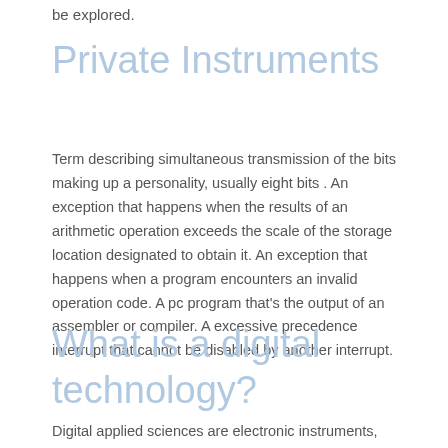be explored.
Private Instruments
Term describing simultaneous transmission of the bits making up a personality, usually eight bits . An exception that happens when the results of an arithmetic operation exceeds the scale of the storage location designated to obtain it. An exception that happens when a program encounters an invalid operation code. A pc program that’s the output of an assembler or compiler. A excessive precedence interrupt that cannot be disabled by another interrupt.
What is a digital technology?
Digital applied sciences are electronic instruments, systems, gadgets and resources that generate, retailer or process